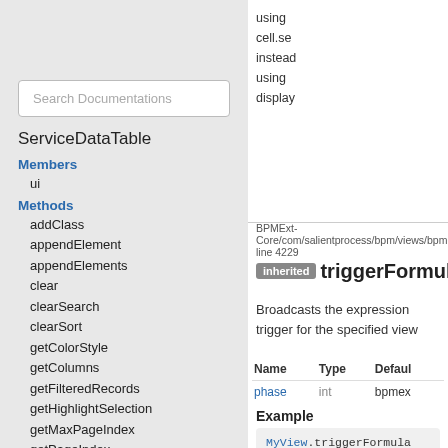using
cell.se
instead
using
display
Search Documentations
ServiceDataTable
Members
ui
Methods
addClass
appendElement
appendElements
clear
clearSearch
clearSort
getColorStyle
getColumns
getFilteredRecords
getHighlightSelection
getMaxPageIndex
getPageIndex
getPageSize
getQueryData
getRecord
getRecordCount
getRecordIndex
BPMExt-Core/com/salientprocess/bpm/views/bpmext.js, line 4229
triggerFormulaUpdates
Broadcasts the expression trigger for the specified view
| Name | Type | Default |
| --- | --- | --- |
| phase | int | bpmext |
Example
MyView.triggerFormulaUpdates();